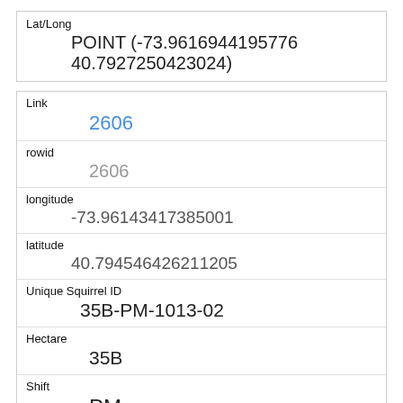| Field | Value |
| --- | --- |
| Lat/Long | POINT (-73.9616944195776 40.7927250423024) |
| Link | 2606 |
| rowid | 2606 |
| longitude | -73.96143417385001 |
| latitude | 40.794546426211205 |
| Unique Squirrel ID | 35B-PM-1013-02 |
| Hectare | 35B |
| Shift | PM |
| Date | 10132018 |
| Hectare Squirrel Number |  |